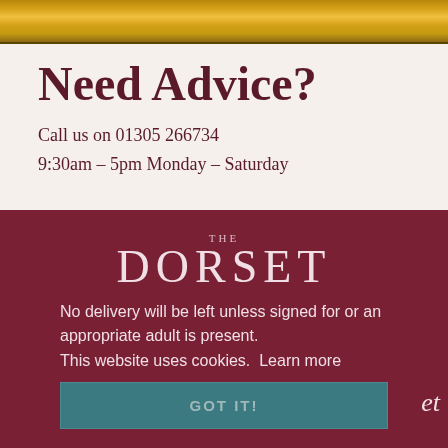[Figure (photo): Gold ornate picture frame top bar]
Need Advice?
Call us on 01305 266734
9:30am – 5pm Monday – Saturday
[Figure (logo): The Dorset logo in white text on dark red background]
No delivery will be left unless signed for or an appropriate adult is present.
This website uses cookies.  Learn more
GOT IT!
et